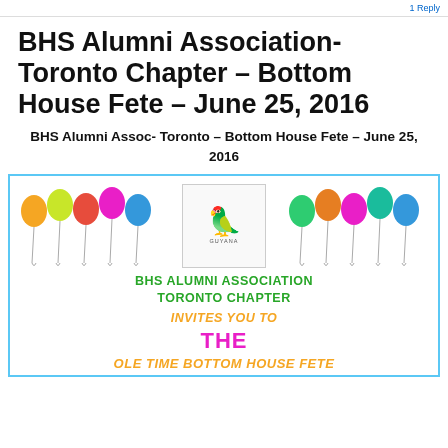1 Reply
BHS Alumni Association- Toronto Chapter – Bottom House Fete – June 25, 2016
BHS Alumni Assoc- Toronto – Bottom House Fete – June 25, 2016
[Figure (illustration): Event flyer with colorful balloons on both sides, a Guyana parrot logo in center, green text reading BHS ALUMNI ASSOCIATION TORONTO CHAPTER, orange italic text INVITES YOU TO, pink text THE, and orange italic text OLE TIME BOTTOM HOUSE FETE]